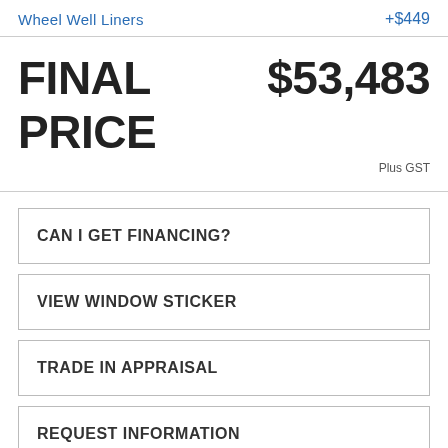Wheel Well Liners  +$449
FINAL PRICE  $53,483
Plus GST
CAN I GET FINANCING?
VIEW WINDOW STICKER
TRADE IN APPRAISAL
REQUEST INFORMATION